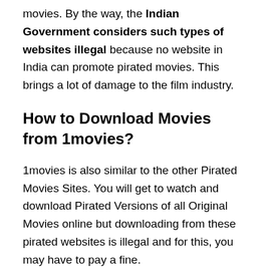movies. By the way, the Indian Government considers such types of websites illegal because no website in India can promote pirated movies. This brings a lot of damage to the film industry.
How to Download Movies from 1movies?
1movies is also similar to the other Pirated Movies Sites. You will get to watch and download Pirated Versions of all Original Movies online but downloading from these pirated websites is illegal and for this, you may have to pay a fine.
1. Go to 1movies's website.
2. Search Direct Movie Name with the help of Search